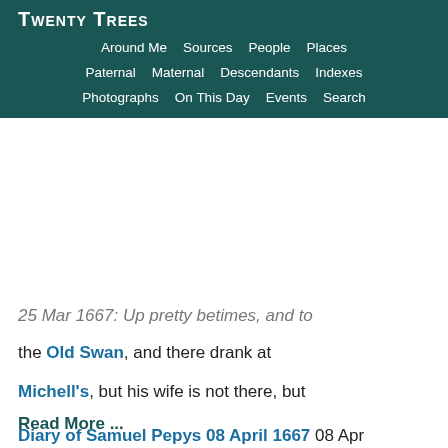Twenty Trees
Around Me  Sources  People  Places
Paternal  Maternal  Descendants  Indexes
Photographs  On This Day  Events  Search
25 Mar 1667: Up pretty betimes, and to the Old Swan, and there drank at Michell's, but his wife is not there, but
Read More ...
Diary of Samuel Pepys 08 April 1667  08 Apr